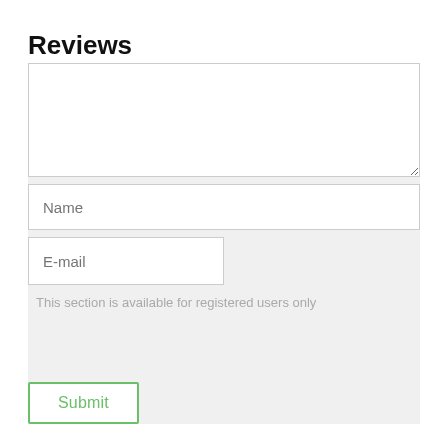Reviews
[Figure (screenshot): A web form for submitting reviews. It contains a large textarea for review text, a Name input field, an E-mail input field (half width), a gray restricted-access notice reading 'This section is available for registered users only', and a Submit button with a green border.]